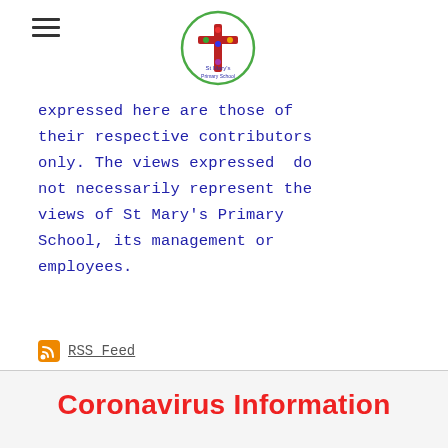Navigation menu and St Mary's Primary School logo
expressed here are those of their respective contributors only. The views expressed do not necessarily represent the views of St Mary's Primary School, its management or employees.
RSS Feed
Categories
All
News
Coronavirus Information